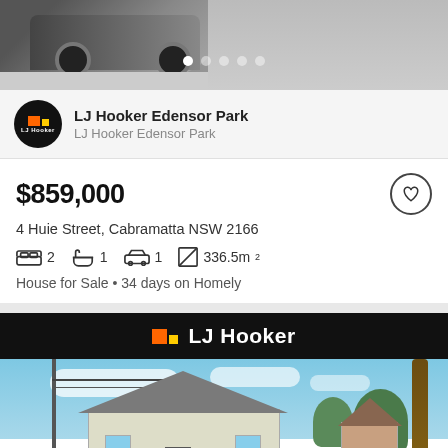[Figure (photo): Top photo strip showing a car and road, with navigation dots indicator]
LJ Hooker Edensor Park
LJ Hooker Edensor Park
$859,000
4 Huie Street, Cabramatta NSW 2166
2 bedrooms  1 bathroom  1 garage  336.5m²
House for Sale • 34 days on Homely
[Figure (logo): LJ Hooker logo banner on black background]
[Figure (photo): Exterior photo of a house in Cabramatta NSW with palm tree and street view, with Save search button overlay]